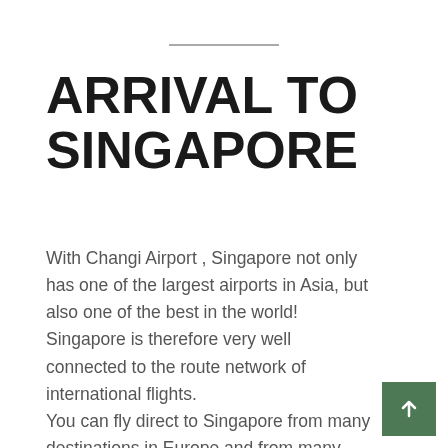ARRIVAL TO SINGAPORE
With Changi Airport , Singapore not only has one of the largest airports in Asia, but also one of the best in the world! Singapore is therefore very well connected to the route network of international flights.
You can fly direct to Singapore from many destinations in Europe and from many destinations in Southeast Asia. Both more exclusive airlines and low-cost airlines